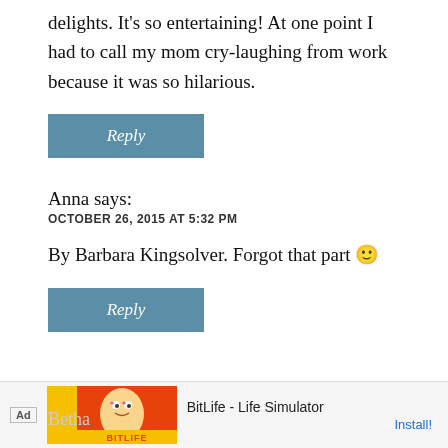delights. It's so entertaining! At one point I had to call my mom cry-laughing from work because it was so hilarious.
Reply
Anna says:
OCTOBER 26, 2015 AT 5:32 PM
By Barbara Kingsolver. Forgot that part 🙂
Reply
[Figure (infographic): Advertisement bar at bottom: BitLife - Life Simulator app ad with orange/yellow icon and Install! button]